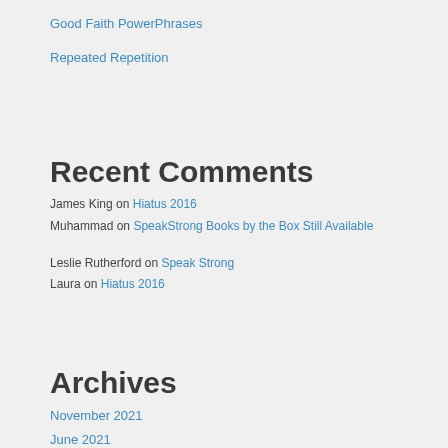Good Faith PowerPhrases
Repeated Repetition
Recent Comments
James King on Hiatus 2016
Muhammad on SpeakStrong Books by the Box Still Available
Leslie Rutherford on Speak Strong
Laura on Hiatus 2016
Archives
November 2021
June 2021